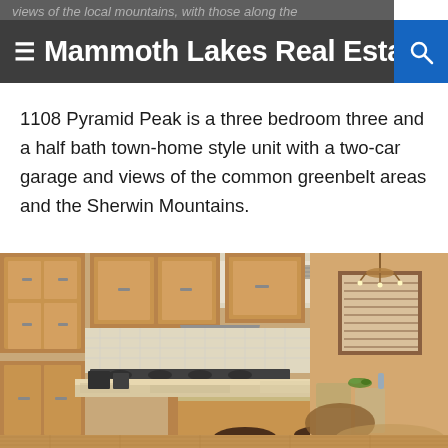views of the local mountains, with those along the
≡ Mammoth Lakes Real Estate 🔍
1108 Pyramid Peak is a three bedroom three and a half bath town-home style unit with a two-car garage and views of the common greenbelt areas and the Sherwin Mountains.
[Figure (photo): Interior kitchen photo showing wooden cabinets, granite countertop island with bar stools, stainless steel range hood, hardwood floors, and a dining area in the background.]